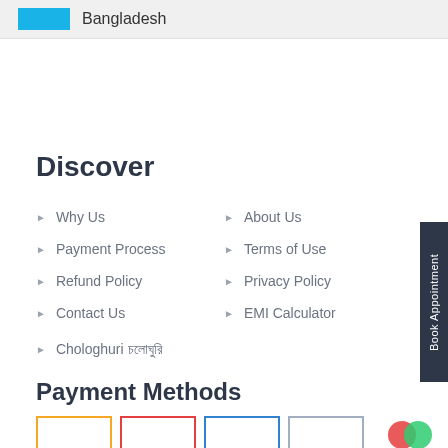Bangladesh
Discover
Why Us
About Us
Payment Process
Terms of Use
Refund Policy
Privacy Policy
Contact Us
EMI Calculator
Chologhuri চলোঘুরি
Payment Methods
[Figure (other): Payment method icons: orange-bordered box, red-bordered box, blue-bordered box, gray-bordered box, circular logo]